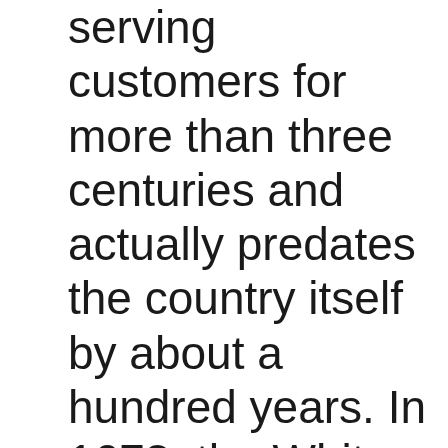serving customers for more than three centuries and actually predates the country itself by about a hundred years. In 1673, the White Horse Tavern in Newport, Rhode Island, opened its doors to customers —